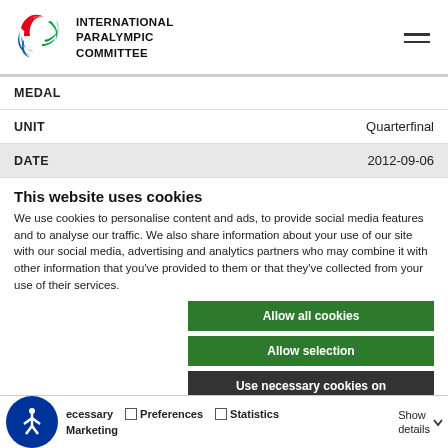International Paralympic Committee
| Field | Value |
| --- | --- |
| MEDAL |  |
| UNIT | Quarterfinal |
| DATE | 2012-09-06 |
This website uses cookies
We use cookies to personalise content and ads, to provide social media features and to analyse our traffic. We also share information about your use of our site with our social media, advertising and analytics partners who may combine it with other information that you've provided to them or that they've collected from your use of their services.
Allow all cookies
Allow selection
Use necessary cookies on
Necessary  Preferences  Statistics  Show details  Marketing